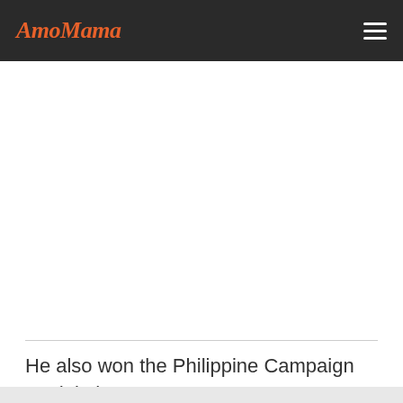AmoMama
[Figure (other): White rectangular advertisement or empty content placeholder area]
He also won the Philippine Campaign Medal; the